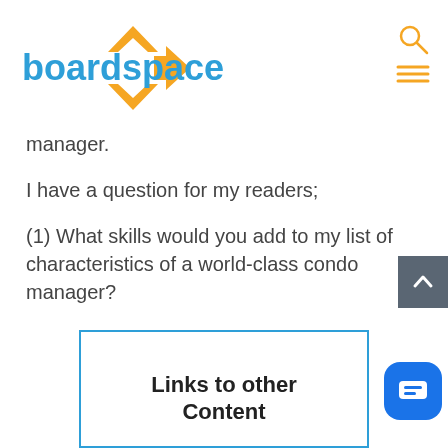[Figure (logo): Boardspace logo with orange bracket/chevron icon and blue text]
manager.
I have a question for my readers;
(1) What skills would you add to my list of characteristics of a world-class condo manager?
Links to other Content